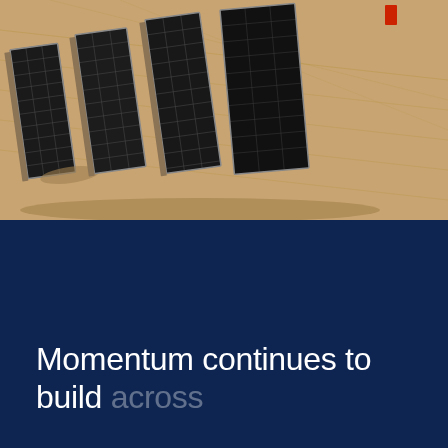[Figure (photo): Aerial view of solar panels arranged on sandy/desert ground, shot from above at an angle. The panels appear as dark rectangular arrays with structural frames casting shadows on the sandy brown terrain. A small red element is visible in the upper right area.]
Momentum continues to build across